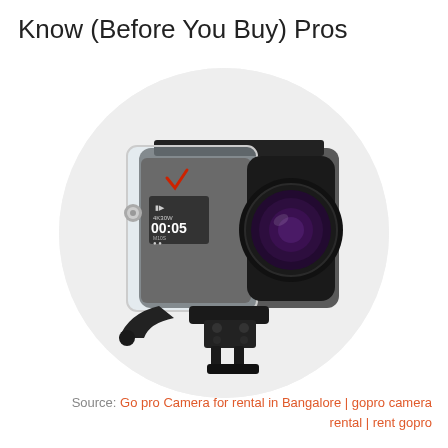Know (Before You Buy) Pros
[Figure (photo): GoPro action camera in a transparent waterproof housing with mounting hardware, displayed on a light gray circular background. The camera shows a digital display reading 00:05 with 4K30W mode indicator.]
Source: Go pro Camera for rental in Bangalore | gopro camera rental | rent gopro